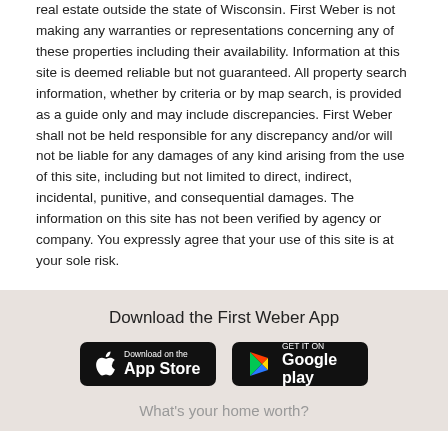real estate outside the state of Wisconsin. First Weber is not making any warranties or representations concerning any of these properties including their availability. Information at this site is deemed reliable but not guaranteed. All property search information, whether by criteria or by map search, is provided as a guide only and may include discrepancies. First Weber shall not be held responsible for any discrepancy and/or will not be liable for any damages of any kind arising from the use of this site, including but not limited to direct, indirect, incidental, punitive, and consequential damages. The information on this site has not been verified by agency or company. You expressly agree that your use of this site is at your sole risk.
Download the First Weber App
[Figure (other): App Store download button (black rounded rectangle with Apple logo and 'Download on the App Store' text)]
[Figure (other): Google Play download button (black rounded rectangle with Google Play logo and 'GET IT ON Google play' text)]
What's your home worth?